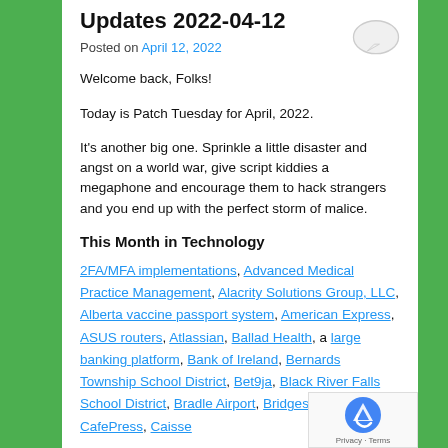Updates 2022-04-12
Posted on April 12, 2022
Welcome back, Folks!
Today is Patch Tuesday for April, 2022.
It's another big one. Sprinkle a little disaster and angst on a world war, give script kiddies a megaphone and encourage them to hack strangers and you end up with the perfect storm of malice.
This Month in Technology
2FA/MFA implementations, Advanced Medical Practice Management, Alacrity Solutions Group, LLC, Alberta vaccine passport system, American Express, ASUS routers, Atlassian, Ballad Health, a large banking platform, Bank of Ireland, Bernards Township School District, Bet9ja, Black River Falls School District, Bradley Airport, Bridgestone Americas, CafePress, Caisse